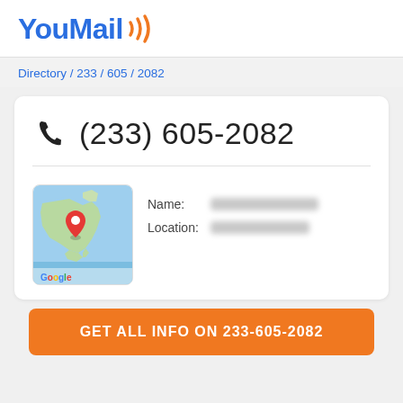YouMail
Directory / 233 / 605 / 2082
(233) 605-2082
[Figure (map): Google Maps thumbnail showing North America with a red pin marker]
Name: [redacted]
Location: [redacted]
GET ALL INFO ON 233-605-2082